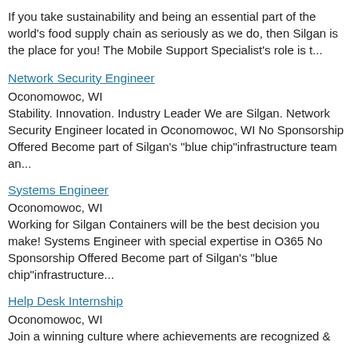If you take sustainability and being an essential part of the world's food supply chain as seriously as we do, then Silgan is the place for you! The Mobile Support Specialist's role is t...
Network Security Engineer
Oconomowoc, WI
Stability. Innovation. Industry Leader We are Silgan. Network Security Engineer located in Oconomowoc, WI No Sponsorship Offered Become part of Silgan's "blue chip"infrastructure team an...
Systems Engineer
Oconomowoc, WI
Working for Silgan Containers will be the best decision you make! Systems Engineer with special expertise in O365 No Sponsorship Offered Become part of Silgan's "blue chip"infrastructure...
Help Desk Internship
Oconomowoc, WI
Join a winning culture where achievements are recognized &